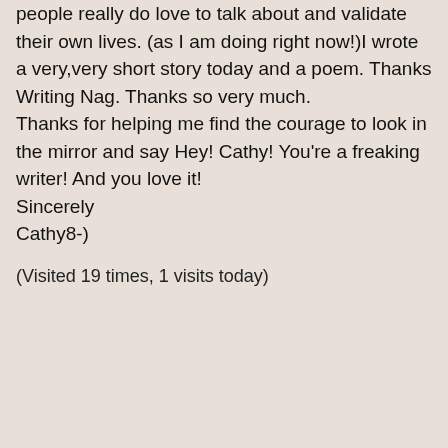people really do love to talk about and validate their own lives. (as I am doing right now!)I wrote a very,very short story today and a poem. Thanks Writing Nag. Thanks so very much.
Thanks for helping me find the courage to look in the mirror and say Hey! Cathy! You're a freaking writer! And you love it!
Sincerely
Cathy8-)
(Visited 19 times, 1 visits today)